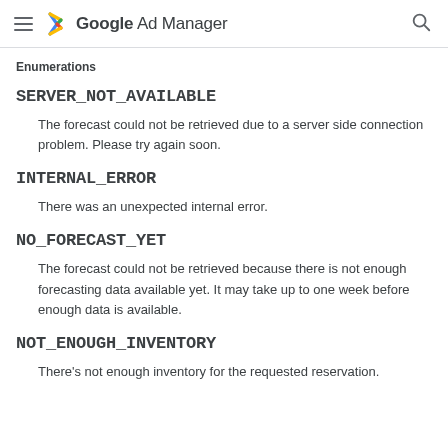Google Ad Manager
Enumerations
SERVER_NOT_AVAILABLE
The forecast could not be retrieved due to a server side connection problem. Please try again soon.
INTERNAL_ERROR
There was an unexpected internal error.
NO_FORECAST_YET
The forecast could not be retrieved because there is not enough forecasting data available yet. It may take up to one week before enough data is available.
NOT_ENOUGH_INVENTORY
There's not enough inventory for the requested reservation.